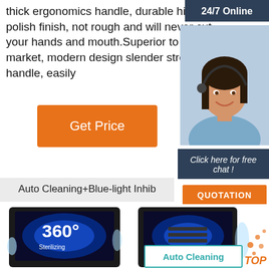thick ergonomics handle, durable high-polish finish, not rough and will never cut your hands and mouth.Superior to all on the market, modern design slender streamlined handle, easily
24/7 Online
[Figure (photo): Customer service agent, woman wearing a headset, smiling, in a blue shirt]
Get Price
Click here for free chat !
QUOTATION
Auto Cleaning+Blue-light Inhib
[Figure (photo): Left device showing 360 degree Sterilizing with blue light and water splash]
[Figure (photo): Right device with blue light, water splash, and TOP text in orange]
Auto Cleaning